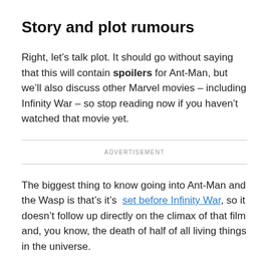Story and plot rumours
Right, let’s talk plot. It should go without saying that this will contain spoilers for Ant-Man, but we’ll also discuss other Marvel movies – including Infinity War – so stop reading now if you haven’t watched that movie yet.
ADVERTISEMENT
The biggest thing to know going into Ant-Man and the Wasp is that’s it’s  set before Infinity War, so it doesn’t follow up directly on the climax of that film and, you know, the death of half of all living things in the universe.